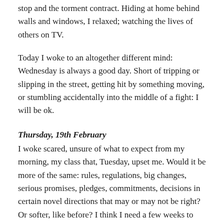stop and the torment contract. Hiding at home behind walls and windows, I relaxed; watching the lives of others on TV.
Today I woke to an altogether different mind: Wednesday is always a good day. Short of tripping or slipping in the street, getting hit by something moving, or stumbling accidentally into the middle of a fight: I will be ok.
Thursday, 19th February
I woke scared, unsure of what to expect from my morning, my class that, Tuesday, upset me. Would it be more of the same: rules, regulations, big changes, serious promises, pledges, commitments, decisions in certain novel directions that may or may not be right? Or softer, like before? I think I need a few weeks to settle, to digest. The news didn't sit comfortably. Shared, it was a bomb – fire everywhere, ashes hot. Still dusting myself off, still chewing on questions, I'm unsure.